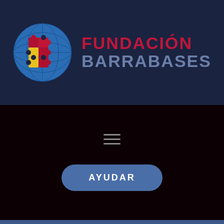[Figure (logo): Fundación Barrabases logo: blue circle with a puzzle-piece letter B in red and yellow, alongside text 'FUNDACIÓN BARRABASES' in red and grey on dark navy background]
[Figure (other): Hamburger menu icon (three horizontal lines) centered on a very dark background]
AYUDAR